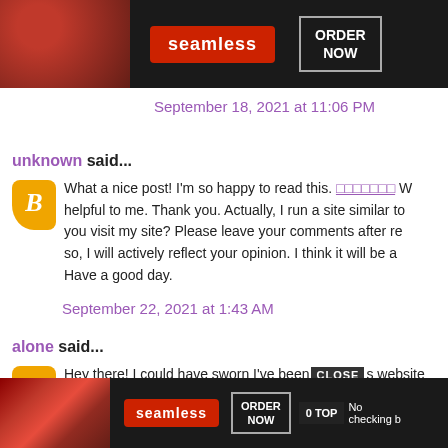[Figure (screenshot): Seamless food delivery advertisement banner at top with pizza image, Seamless logo button, and ORDER NOW button on dark background]
September 18, 2021 at 11:06 PM
unknown said...
What a nice post! I'm so happy to read this. □□□□□□□ W helpful to me. Thank you. Actually, I run a site similar to you visit my site? Please leave your comments after re so, I will actively reflect your opinion. I think it will be a Have a good day.
September 22, 2021 at 1:43 AM
alone said...
Hey there! I could have sworn I've been s website checking b
[Figure (screenshot): Seamless food delivery advertisement banner at bottom with pizza image, Seamless logo button, ORDER NOW button, CLOSE button, and 0 TOP button overlay]